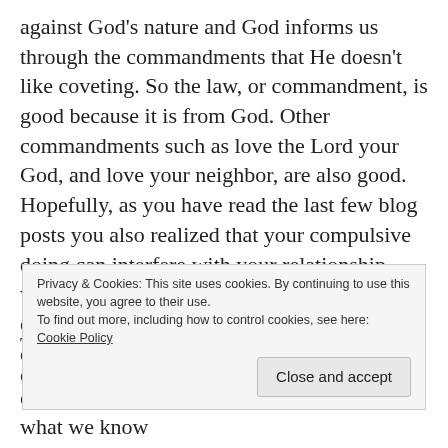against God's nature and God informs us through the commandments that He doesn't like coveting. So the law, or commandment, is good because it is from God. Other commandments such as love the Lord your God, and love your neighbor, are also good. Hopefully, as you have read the last few blog posts you also realized that your compulsive doing can interfere with your relationship with God and you need to make changes in order to follow the command, “Let us press on to know the LORD.” (Hosea 6:3)
The problem with any command (O.T. law or otherwise)
Privacy & Cookies: This site uses cookies. By continuing to use this website, you agree to their use.
To find out more, including how to control cookies, see here: Cookie Policy
Close and accept
of sin and not a knowing rebellion against what we know